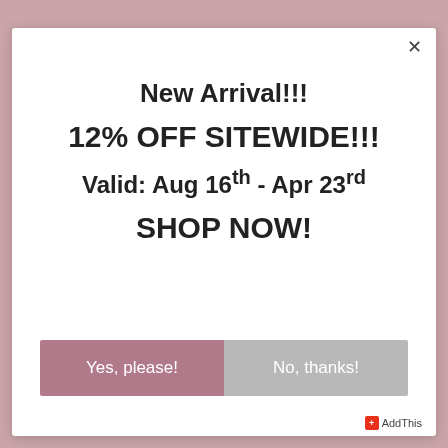[Figure (screenshot): Background showing partial view of a clothing/fashion website with pink/mauve tones]
New Arrival!!!
12% OFF SITEWIDE!!!
Valid: Aug 16th - Apr 23rd
SHOP NOW!
Yes, please!
No, thanks!
AddThis